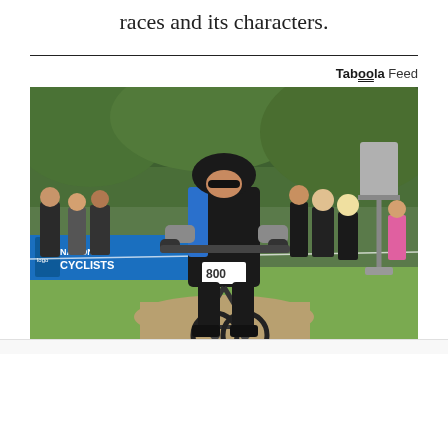races and its characters.
[Figure (photo): A mountain biker in a black and blue cycling kit and helmet races on a dirt path during a cycling event. A blue banner reading 'NATION CYCLISTS' is visible in the background along with spectators and green trees. The rider wears race number 800.]
Tab00la Feed